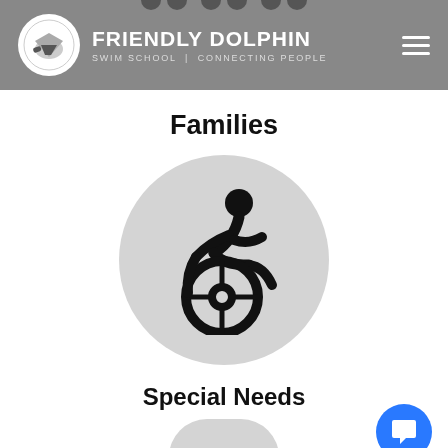Friendly Dolphin Swim School | Connecting People
Families
[Figure (illustration): Wheelchair accessibility icon — person in dynamic wheelchair pose — inside a large light gray circle]
Special Needs
[Figure (illustration): Bottom portion of a light gray circle, cropped at page bottom]
[Figure (illustration): Blue circular chat/support button with speech bubble icon in lower right corner]